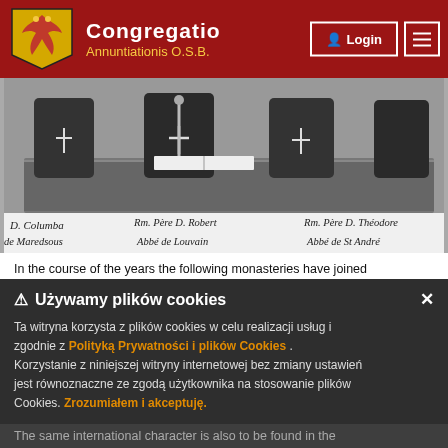Congregatio Annuntiationis O.S.B.
[Figure (photo): Black and white photograph of clergy seated at a table with ornate tablecloth, with handwritten caption identifying: 'D. Columba de Maredsous', 'Rm. Pire D. Robert Abbé de Louvain', 'Rm. Pire D. Théodore Abbé de St André']
In the course of the years the following monasteries have joined the Congregation: Singeverga (Portugal), Trinidad (West Indies), T... Egmond (Netherlands), D... Louvain (Belgium)... join the Flemish Province of the Subiaco Congregation.
Używamy plików cookies
Ta witryna korzysta z plików cookies w celu realizacji usług i zgodnie z Polityką Prywatności i plików Cookies . Korzystanie z niniejszej witryny internetowej bez zmiany ustawień jest równoznaczne ze zgodą użytkownika na stosowanie plików Cookies. Zrozumiałem i akceptuję.
The same international character is also to be found in the